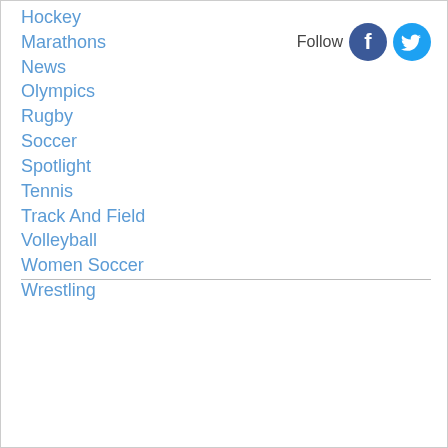Hockey
Marathons
News
Olympics
Rugby
Soccer
Spotlight
Tennis
Track And Field
Volleyball
Women Soccer
Wrestling
[Figure (logo): Follow us: Facebook and Twitter social media icons]
Follow